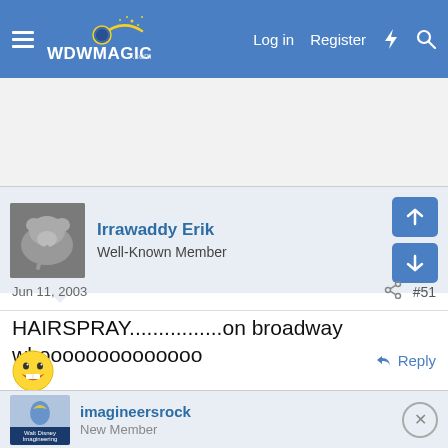WDWMAGIC — Log in  Register
Irrawaddy Erik
Well-Known Member
Jun 11, 2003  #51
HAIRSPRAY................on broadway whoooooooooooooo
[Figure (illustration): Grinning emoji face]
Reply
imagineersrock
New Member